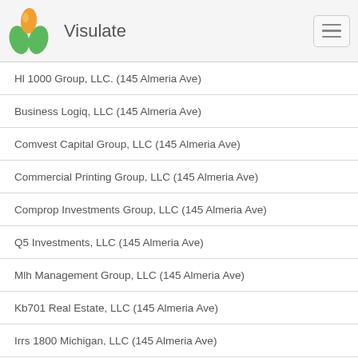Visulate
Hl 1000 Group, LLC. (145 Almeria Ave)
Business Logiq, LLC (145 Almeria Ave)
Comvest Capital Group, LLC (145 Almeria Ave)
Commercial Printing Group, LLC (145 Almeria Ave)
Comprop Investments Group, LLC (145 Almeria Ave)
Q5 Investments, LLC (145 Almeria Ave)
Mlh Management Group, LLC (145 Almeria Ave)
Kb701 Real Estate, LLC (145 Almeria Ave)
Irrs 1800 Michigan, LLC (145 Almeria Ave)
Irrs 1818 Michigan, LLC (145 Almeria Ave)